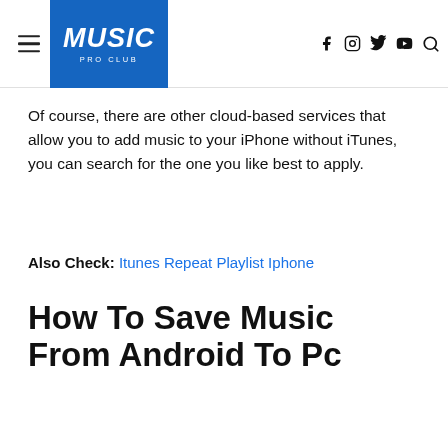MUSIC PRO CLUB
Of course, there are other cloud-based services that allow you to add music to your iPhone without iTunes, you can search for the one you like best to apply.
Also Check: Itunes Repeat Playlist Iphone
How To Save Music From Android To Pc